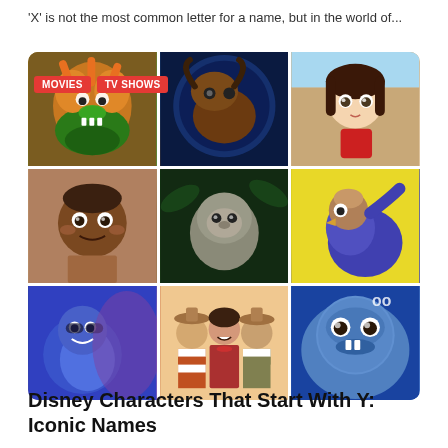'X' is not the most common letter for a name, but in the world of...
[Figure (photo): 3x3 grid of Disney character movie and TV show thumbnails with MOVIES and TV SHOWS red tag labels overlaid on the top-left cell]
Disney Characters That Start With Y: Iconic Names